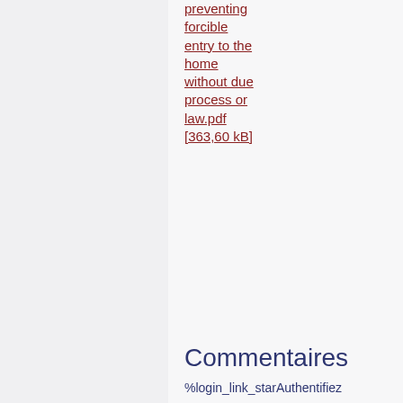preventing forcible entry to the home without due process or law.pdf [363,60 kB]
Commentaires
%login_link_starAuthentifiez